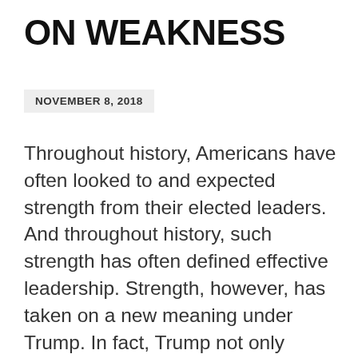ON WEAKNESS
NOVEMBER 8, 2018
Throughout history, Americans have often looked to and expected strength from their elected leaders. And throughout history, such strength has often defined effective leadership. Strength, however, has taken on a new meaning under Trump. In fact, Trump not only believes strength derives from unapologetic exhibits of contention and division, but racial and cultural division. But more than anything, “strength” under Trump has become a political and strategic mask. It is